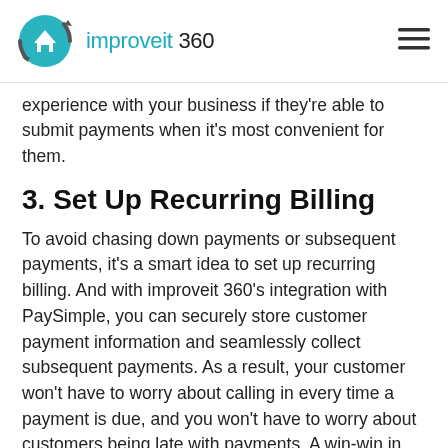improveit 360
experience with your business if they're able to submit payments when it's most convenient for them.
3. Set Up Recurring Billing
To avoid chasing down payments or subsequent payments, it's a smart idea to set up recurring billing. And with improveit 360's integration with PaySimple, you can securely store customer payment information and seamlessly collect subsequent payments. As a result, your customer won't have to worry about calling in every time a payment is due, and you won't have to worry about customers being late with payments. A win-win in our